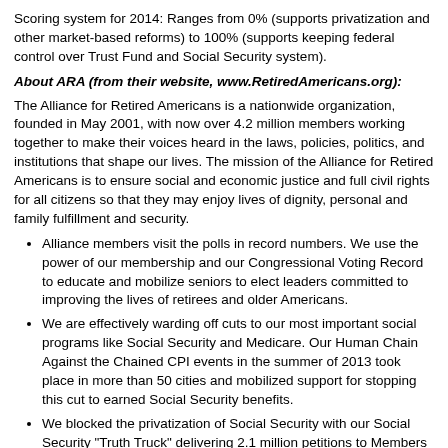Scoring system for 2014: Ranges from 0% (supports privatization and other market-based reforms) to 100% (supports keeping federal control over Trust Fund and Social Security system).
About ARA (from their website, www.RetiredAmericans.org):
The Alliance for Retired Americans is a nationwide organization, founded in May 2001, with now over 4.2 million members working together to make their voices heard in the laws, policies, politics, and institutions that shape our lives. The mission of the Alliance for Retired Americans is to ensure social and economic justice and full civil rights for all citizens so that they may enjoy lives of dignity, personal and family fulfillment and security.
Alliance members visit the polls in record numbers. We use the power of our membership and our Congressional Voting Record to educate and mobilize seniors to elect leaders committed to improving the lives of retirees and older Americans.
We are effectively warding off cuts to our most important social programs like Social Security and Medicare. Our Human Chain Against the Chained CPI events in the summer of 2013 took place in more than 50 cities and mobilized support for stopping this cut to earned Social Security benefits.
We blocked the privatization of Social Security with our Social Security "Truth Truck" delivering 2.1 million petitions to Members of Congress and other tactics.
The Alliance makes its voice heard on the issues that matter not just to current retirees, but to all Americans who hope to retire one day. We were a leading voice in recent debates considering changes to Medicare, like replacing guaranteed benefits with a voucher system, and remain so in 2014.
Source: ARA lifetime rating on incumbents of 113th Congress 14_ARA on Jan 1, 2013
Reduce taxes on Social Security earnings